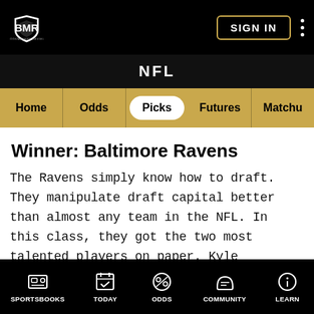BMR BOOKMAKERS REVIEW — SIGN IN
NFL
Home | Odds | Picks | Futures | Matchu
Winner: Baltimore Ravens
The Ravens simply know how to draft. They manipulate draft capital better than almost any team in the NFL. In this class, they got the two most talented players on paper. Kyle Hamilton and Tyler Linderbaum are elite players, but they
Bookmakers Review uses cookies to help us improve your experience in accordance with our Privacy Policy.
ACCEPT & CLOSE
SPORTSBOOKS | TODAY | ODDS | COMMUNITY | LEARN